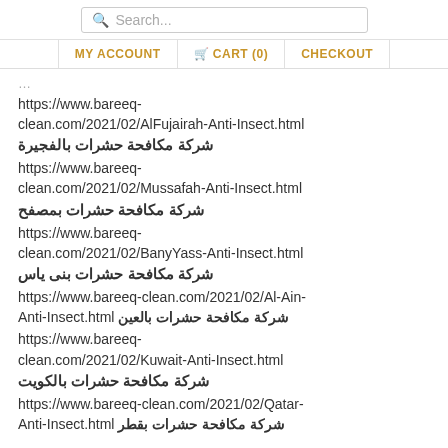Search... | MY ACCOUNT | CART (0) | CHECKOUT
https://www.bareeq-clean.com/2021/02/AlFujairah-Anti-Insect.html شركة مكافحة حشرات بالفجيرة
https://www.bareeq-clean.com/2021/02/Mussafah-Anti-Insect.html شركة مكافحة حشرات بمصفح
https://www.bareeq-clean.com/2021/02/BanyYass-Anti-Insect.html شركة مكافحة حشرات بنى ياس
https://www.bareeq-clean.com/2021/02/Al-Ain-Anti-Insect.html شركة مكافحة حشرات بالعين
https://www.bareeq-clean.com/2021/02/Kuwait-Anti-Insect.html شركة مكافحة حشرات بالكويت
https://www.bareeq-clean.com/2021/02/Qatar-Anti-Insect.html شركة مكافحة حشرات بقطر